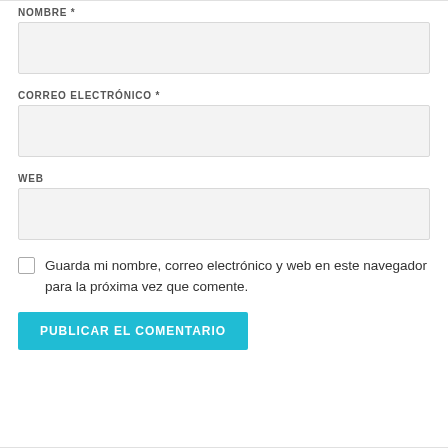NOMBRE *
[Figure (other): Empty text input field for NOMBRE]
CORREO ELECTRÓNICO *
[Figure (other): Empty text input field for CORREO ELECTRÓNICO]
WEB
[Figure (other): Empty text input field for WEB]
Guarda mi nombre, correo electrónico y web en este navegador para la próxima vez que comente.
PUBLICAR EL COMENTARIO